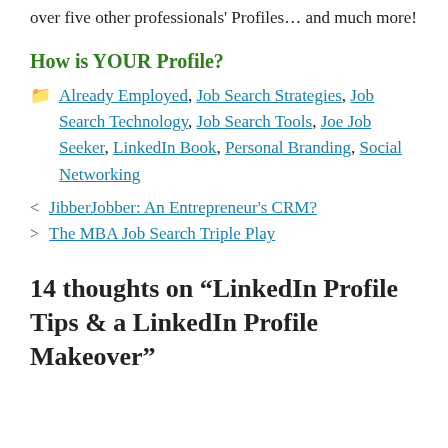over five other professionals' Profiles… and much more!
How is YOUR Profile?
Categories: Already Employed, Job Search Strategies, Job Search Technology, Job Search Tools, Joe Job Seeker, LinkedIn Book, Personal Branding, Social Networking
< JibberJobber: An Entrepreneur's CRM?
> The MBA Job Search Triple Play
14 thoughts on “LinkedIn Profile Tips & a LinkedIn Profile Makeover”